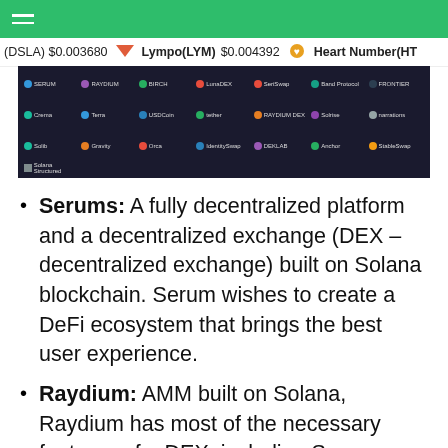(DSLA) $0.003680   Lympo(LYM) $0.004392   Heart Number(HT
[Figure (screenshot): Screenshot of Solana DeFi ecosystem showing logos of projects: Serum, Raydium, Birch, LunaDEX, SeriSwap, Band Protocol, Frontier, Crema, Terra, USDCoin, tether, Raydium DEX, Solrise, Stablecoin, Solib, Gravity, Orca, IdentitySwap, DEKLAB, Anchor, StableSwap, Solana Structured Products]
Serums: A fully decentralized platform and a decentralized exchange (DEX – decentralized exchange) built on Solana blockchain. Serum wishes to create a DeFi ecosystem that brings the best user experience.
Raydium: AMM built on Solana, Raydium has most of the necessary features of a DEX, including Swap, Orderbook, Farming, Pools.
Bonfida: The DEX exchange provides